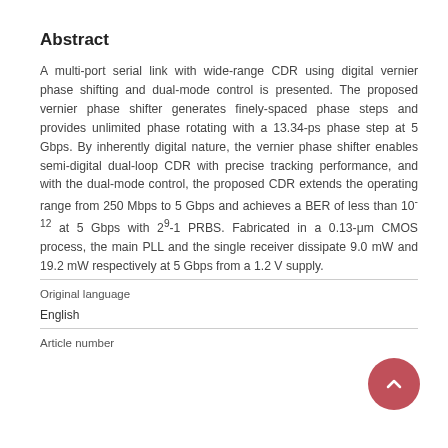Abstract
A multi-port serial link with wide-range CDR using digital vernier phase shifting and dual-mode control is presented. The proposed vernier phase shifter generates finely-spaced phase steps and provides unlimited phase rotating with a 13.34-ps phase step at 5 Gbps. By inherently digital nature, the vernier phase shifter enables semi-digital dual-loop CDR with precise tracking performance, and with the dual-mode control, the proposed CDR extends the operating range from 250 Mbps to 5 Gbps and achieves a BER of less than 10⁻¹² at 5 Gbps with 2⁹-1 PRBS. Fabricated in a 0.13-μm CMOS process, the main PLL and the single receiver dissipate 9.0 mW and 19.2 mW respectively at 5 Gbps from a 1.2 V supply.
Original language
English
Article number